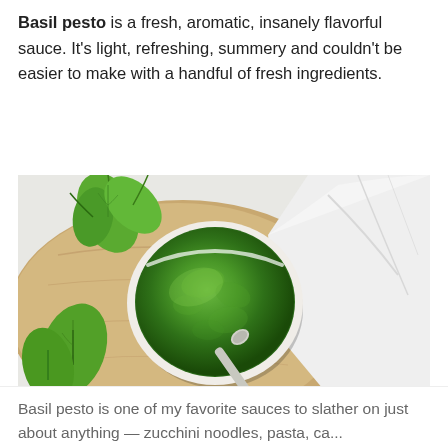Basil pesto is a fresh, aromatic, insanely flavorful sauce. It's light, refreshing, summery and couldn't be easier to make with a handful of fresh ingredients.
[Figure (photo): Overhead photo of basil pesto in a white bowl with a spoon, placed on a wooden board with fresh basil leaves, on a white cloth background.]
Basil pesto is one of my favorite sauces to slather on just about anything — zucchini noodles, pasta, ca...